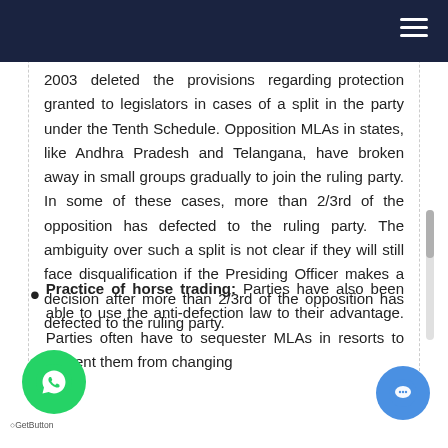2003 deleted the provisions regarding protection granted to legislators in cases of a split in the party under the Tenth Schedule. Opposition MLAs in states, like Andhra Pradesh and Telangana, have broken away in small groups gradually to join the ruling party. In some of these cases, more than 2/3rd of the opposition has defected to the ruling party. The ambiguity over such a split is not clear if they will still face disqualification if the Presiding Officer makes a decision after more than 2/3rd of the opposition has defected to the ruling party.
Practice of horse trading: Parties have also been able to use the anti-defection law to their advantage. Parties often have to sequester MLAs in resorts to prevent them from changing